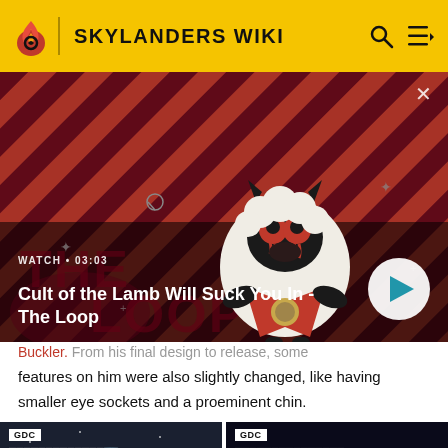SKYLANDERS WIKI
[Figure (screenshot): Video thumbnail for 'Cult of the Lamb Will Suck You In - The Loop' showing a cartoon lamb character with dark horns and red eyes on a diagonal striped red/dark background. Watch time shown as 03:03. Play button visible.]
Buckler. From his final design to release, some features on him were also slightly changed, like having smaller eye sockets and a proeminent chin.
[Figure (screenshot): Two GDC video thumbnails. Left thumbnail shows a blue planet/earth image. Right thumbnail shows 'Character Review 2' label in red and 'Bubble Trouble' label in blue on dark background.]